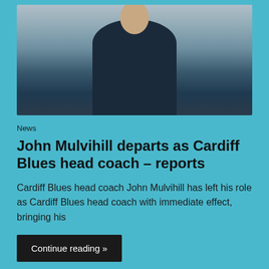[Figure (photo): A man in a navy blue puffer jacket gesturing with his arm raised, wearing a sports badge on the jacket, photographed outdoors with blurred background]
News
John Mulvihill departs as Cardiff Blues head coach – reports
Cardiff Blues head coach John Mulvihill has left his role as Cardiff Blues head coach with immediate effect, bringing his
Continue reading »